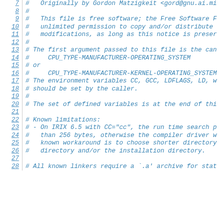Lines 7-28 of a shell script configuration file (config.guess or similar autoconf script). Comments about origin (Gordon Matzigkeit), license (free software), argument format (CPU_TYPE-MANUFACTURER-OPERATING_SYSTEM), environment variables, known limitations (IRIX 6.5, path lengths), and linker requirements.